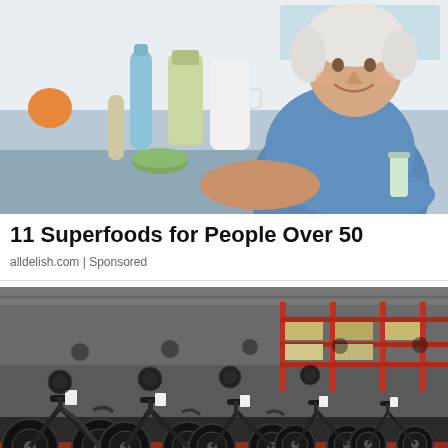[Figure (photo): Elderly woman with white hair smiling, sitting at a kitchen table holding a glass of green smoothie, with a water bottle, blender, and healthy food items in the background.]
11 Superfoods for People Over 50
alldelish.com | Sponsored
[Figure (photo): Large warehouse full of rows of black electric bicycles packed tightly together, with red metal shelving units visible in the background.]